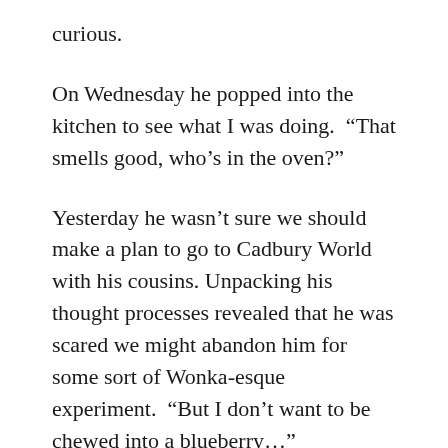curious.
On Wednesday he popped into the kitchen to see what I was doing.  “That smells good, who’s in the oven?”
Yesterday he wasn’t sure we should make a plan to go to Cadbury World with his cousins. Unpacking his thought processes revealed that he was scared we might abandon him for some sort of Wonka-esque experiment.  “But I don’t want to be chewed into a blueberry…”
Today I realised that this time next week we will be required to be doing something in a church in the UK and we haven’t organised it